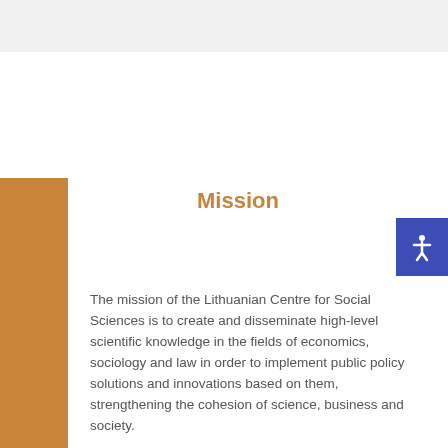Mission
The mission of the Lithuanian Centre for Social Sciences is to create and disseminate high-level scientific knowledge in the fields of economics, sociology and law in order to implement public policy solutions and innovations based on them, strengthening the cohesion of science, business and society.